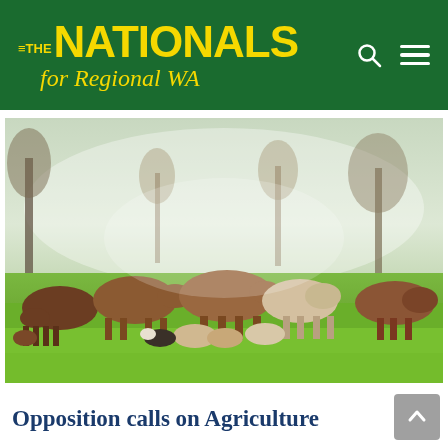THE NATIONALS for Regional WA
[Figure (photo): A herd of brown and white cattle grazing on bright green grass in a misty field with bare trees in the background]
Opposition calls on Agriculture